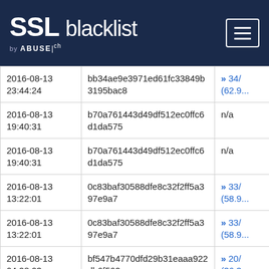SSL blacklist by ABUSE.ch
| Date | Hash | Link |
| --- | --- | --- |
| 2016-08-13 23:44:24 | bb34ae9e3971ed61fc33849b3195bac8 | 34/... (62.9...) |
| 2016-08-13 19:40:31 | b70a761443d49df512ec0ffc6d1da575 | n/a |
| 2016-08-13 19:40:31 | b70a761443d49df512ec0ffc6d1da575 | n/a |
| 2016-08-13 13:22:01 | 0c83baf30588dfe8c32f2ff5a397e9a7 | 33/... (58.9...) |
| 2016-08-13 13:22:01 | 0c83baf30588dfe8c32f2ff5a397e9a7 | 33/... (58.9...) |
| 2016-08-13 04:28:03 | bf547b4770dfd29b31eaaa922db6f562 | 20/... (36.3...) |
| 2016-08-13 | bf547b4770dfd29b31eaaa922db6f562 | 20/... |